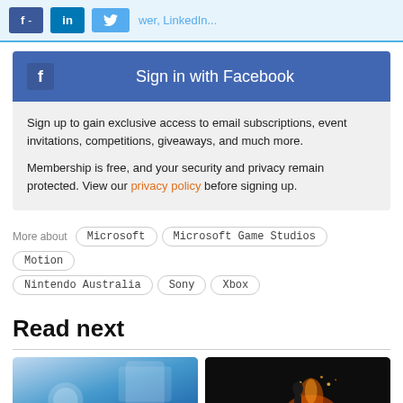[Figure (screenshot): Social sharing bar with Facebook (f), LinkedIn (in), and Twitter bird icon buttons, with light blue background and blue bottom border. Text partially visible: 'wer, LinkedIn...']
[Figure (screenshot): Facebook Sign In button: dark blue bar with Facebook f icon on left, text 'Sign in with Facebook' centered in white]
Sign up to gain exclusive access to email subscriptions, event invitations, competitions, giveaways, and much more.
Membership is free, and your security and privacy remain protected. View our privacy policy before signing up.
More about  Microsoft  Microsoft Game Studios  Motion  Nintendo Australia  Sony  Xbox
Read next
[Figure (photo): Two thumbnail images side by side: left shows a blue background with device/browser elements, right shows a dark scene with fire/sparks effect on a figure]